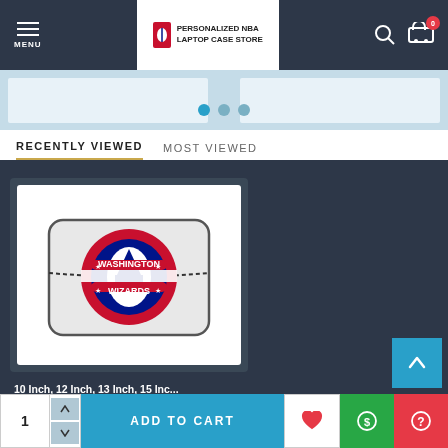MENU | PERSONALIZED NBA LAPTOP CASE STORE
[Figure (screenshot): Carousel pagination dots: active blue dot, inactive grey dots]
RECENTLY VIEWED  MOST VIEWED
[Figure (photo): Washington Wizards personalized laptop case product image on white background]
10 Inch, 12 Inch, 13 Inch, 15 Inc...
[Figure (illustration): Scroll to top arrow button in blue]
1  ADD TO CART